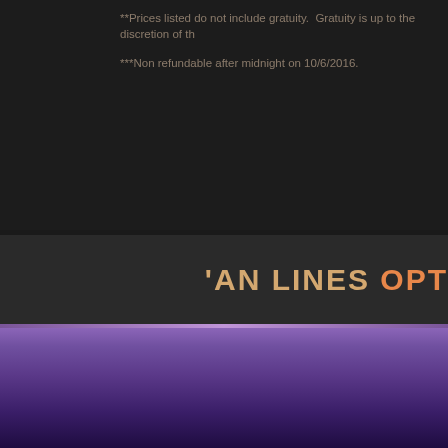**Prices listed do not include gratuity.  Gratuity is up to the discretion of th
***Non refundable after midnight on 10/6/2016.
'AN LINES OPT
[Figure (illustration): Purple triangular logo element in bottom-left of dark band]